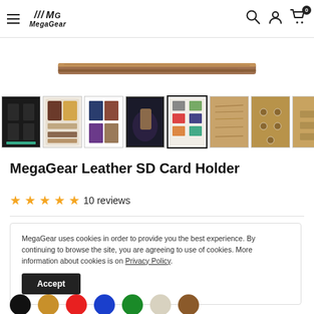MegaGear navigation bar with hamburger menu, MegaGear logo, search icon, account icon, cart icon with badge 0
[Figure (photo): Product top/edge view of MegaGear Leather SD Card Holder showing brown leather material on white background]
[Figure (photo): Thumbnail row showing 8 product images of the MegaGear Leather SD Card Holder from various angles and color options; 4th thumbnail is selected/highlighted]
MegaGear Leather SD Card Holder
★★★★★ 10 reviews
MegaGear uses cookies in order to provide you the best experience. By continuing to browse the site, you are agreeing to use of cookies. More information about cookies is on Privacy Policy.